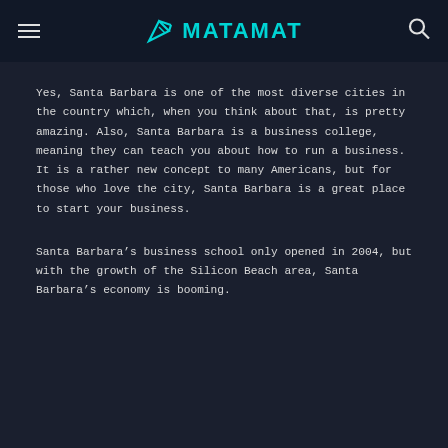MATAMAT
Yes, Santa Barbara is one of the most diverse cities in the country which, when you think about that, is pretty amazing. Also, Santa Barbara is a business college, meaning they can teach you about how to run a business. It is a rather new concept to many Americans, but for those who love the city, Santa Barbara is a great place to start your business.
Santa Barbara’s business school only opened in 2004, but with the growth of the Silicon Beach area, Santa Barbara’s economy is booming.